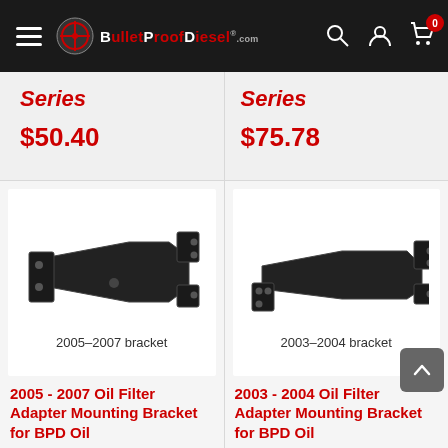BulletProofDiesel.com
Series
$50.40
Series
$75.78
[Figure (photo): Black metal mounting bracket for 2005-2007 with label '2005-2007 bracket']
[Figure (photo): Black metal mounting bracket for 2003-2004 with label '2003-2004 bracket']
2005 - 2007 Oil Filter Adapter Mounting Bracket for BPD Oil
2003 - 2004 Oil Filter Adapter Mounting Bracket for BPD Oil